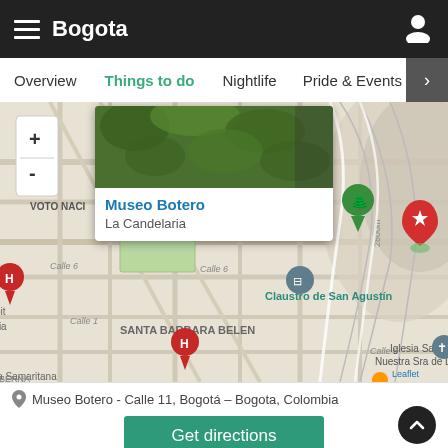Bogota
Overview | Things to do | Nightlife | Pride & Events
[Figure (map): Interactive map of Bogota La Candelaria area showing Museo Botero, Plaza de Bolivar, Claustro de San Agustin, Monserrate, EGIPTO, SANTA BARBARA, BELEN neighborhoods with map pins and a popup for Museo Botero]
Museo Botero - Calle 11, Bogotá – Bogota, Colombia
Get directions